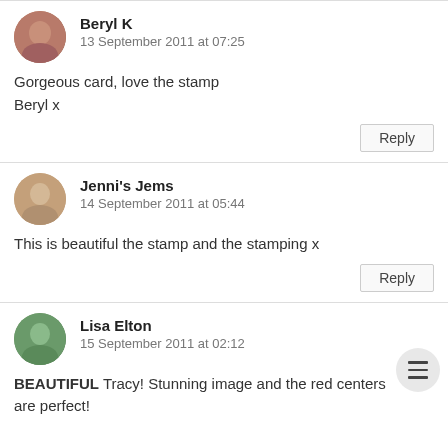Beryl K
13 September 2011 at 07:25
Gorgeous card, love the stamp
Beryl x
Reply
Jenni's Jems
14 September 2011 at 05:44
This is beautiful the stamp and the stamping x
Reply
Lisa Elton
15 September 2011 at 02:12
BEAUTIFUL Tracy! Stunning image and the red centers are perfect!